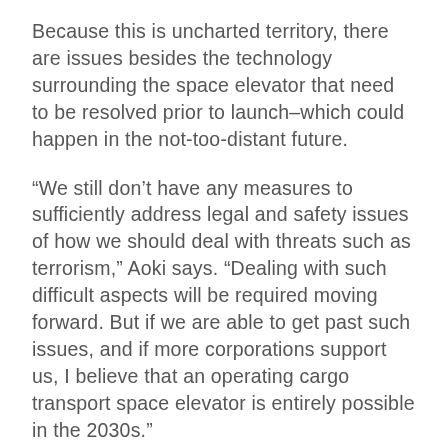Because this is uncharted territory, there are issues besides the technology surrounding the space elevator that need to be resolved prior to launch–which could happen in the not-too-distant future.
“We still don’t have any measures to sufficiently address legal and safety issues of how we should deal with threats such as terrorism,” Aoki says. “Dealing with such difficult aspects will be required moving forward. But if we are able to get past such issues, and if more corporations support us, I believe that an operating cargo transport space elevator is entirely possible in the 2030s.”
This article has been updated. It was originally